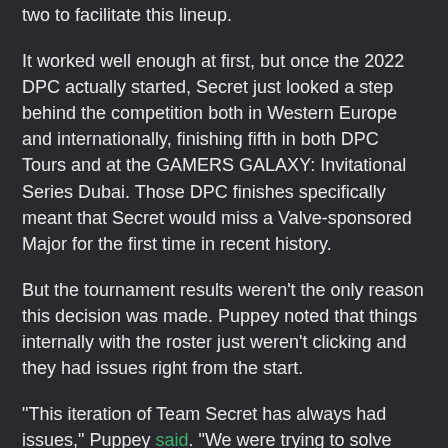two to facilitate this lineup.
It worked well enough at first, but once the 2022 DPC actually started, Secret just looked a step behind the competition both in Western Europe and internationally, finishing fifth in both DPC Tours and at the GAMERS GALAXY: Invitational Series Dubai. Those DPC finishes specifically meant that Secret would miss a Valve-sponsored Major for the first time in recent history.
But the tournament results weren't the only reason this decision was made. Puppey noted that things internally with the roster just weren't clicking and they had issues right from the start.
“This iteration of Team Secret has always had issues,” Puppey said. “We were trying to solve problems with role swapping or finding a better philosophy to play the game but ultimately we couldn’t achieve consistency and fell flat. When things don’t